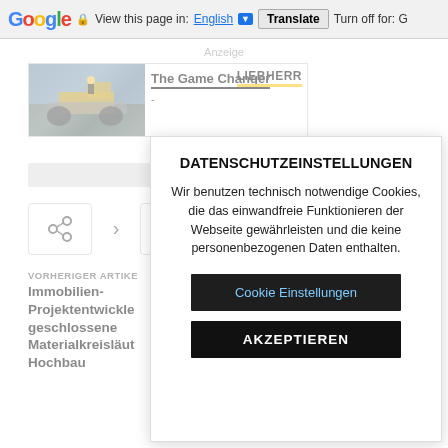Google  View this page in: English [▼]  Translate  Turn off for: G
Anzeige
[Figure (screenshot): Liebherr advertisement banner: 'The Game Changer' with an image of a bulldozer/construction vehicle and LIEBHERR logo]
DATENSCHUTZEINSTELLUNGEN
Wir benutzen technisch notwendige Cookies, die das einwandfreie Funktionieren der Webseite gewährleisten und die keine personenbezogenen Daten enthalten.
Cookie Einstellungen
AKZEPTIEREN
VORHERIGER ARTIKEL
Immobilien-Projektentwickle geschlossene Materialkreisläut Hochbau